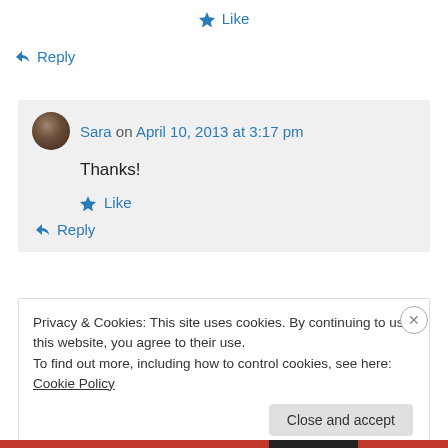★ Like
↪ Reply
Sara on April 10, 2013 at 3:17 pm
Thanks!
★ Like
↪ Reply
Privacy & Cookies: This site uses cookies. By continuing to use this website, you agree to their use.
To find out more, including how to control cookies, see here: Cookie Policy
Close and accept